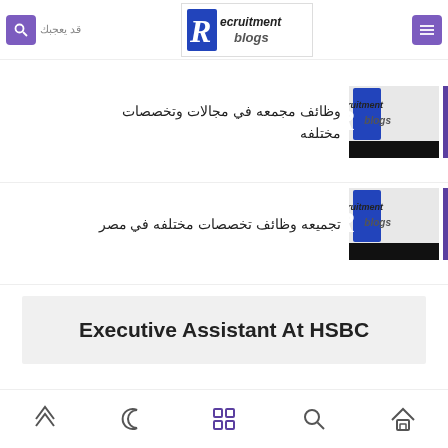قد يعجبك | Recruitment blogs
وظائف مجمعه في مجالات وتخصصات مختلفه
تجميعه وظائف تخصصات مختلفه في مصر
Executive Assistant At HSBC
Navigation icons: up arrow, moon, grid, search, home